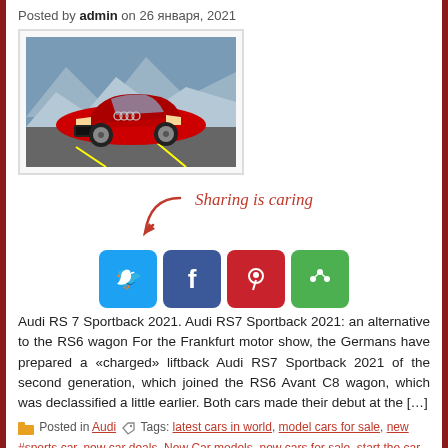Posted by admin on 26 января, 2021
[Figure (photo): Red Audi RS7 Sportback 2021 driving on a road with mountains in background]
[Figure (infographic): Sharing is caring section with Twitter, Facebook, Pinterest, and More social share buttons with a red arrow pointing to the buttons]
Audi RS 7 Sportback 2021. Audi RS7 Sportback 2021: an alternative to the RS6 wagon For the Frankfurt motor show, the Germans have prepared a «charged» liftback Audi RS7 Sportback 2021 of the second generation, which joined the RS6 Avant C8 wagon, which was declassified a little earlier. Both cars made their debut at the […]
Posted in Audi Tags: latest cars in world, model cars for sale, new #sports car, new car deals, New Car models, new cars for sale, start the car, upcoming cars, world best car, Worlds Best No Comments »